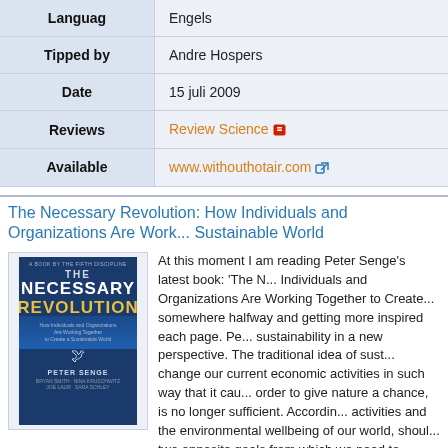| Field | Value |
| --- | --- |
| Languag | Engels |
| Tipped by | Andre Hospers |
| Date | 15 juli 2009 |
| Reviews | Review Science [icon] |
| Available | www.withouthotair.com [icon] |
The Necessary Revolution: How Individuals and Organizations Are Working Together to Create a Sustainable World
[Figure (photo): Book cover of 'The Necessary Revolution' by Peter Senge, with blue and gold/yellow text on dark blue background]
At this moment I am reading Peter Senge's latest book: 'The N... Individuals and Organizations Are Working Together to Create... somewhere halfway and getting more inspired each page. Pe... sustainability in a new perspective. The traditional idea of sust... change our current economic activities in such way that it cau... order to give nature a chance, is no longer sufficient. Accordin... activities and the environmental wellbeing of our world, shoul... two opposite goals from which we need to choose. He even p... direction, that is: nature is not depending on us whether or no... are depending on nature whether or not nature gives us a cha... such way that it keeps giving us the opportunity to maintain an...